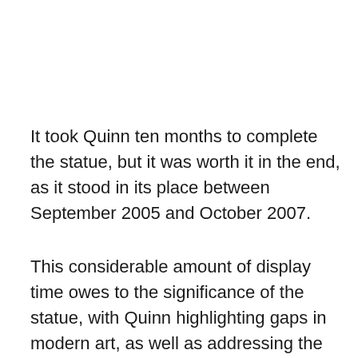It took Quinn ten months to complete the statue, but it was worth it in the end, as it stood in its place between September 2005 and October 2007.
This considerable amount of display time owes to the significance of the statue, with Quinn highlighting gaps in modern art, as well as addressing the different people found in London's – and by extension Britain's – communities